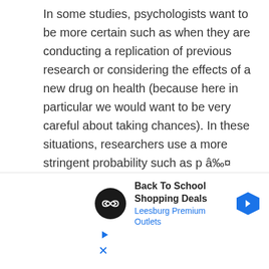In some studies, psychologists want to be more certain such as when they are conducting a replication of previous research or considering the effects of a new drug on health (because here in particular we would want to be very careful about taking chances). In these situations, researchers use a more stringent probability such as p â‰¤ 0.01, (here the psychologist would be 99% sure the IV had caused an effect in the DV but would attribute 1% that the change in the DV was down to another chance factor). In other situations, a more lenient level such as        p â‰¤ 0.10 might be used, such as when conducting research into a new topic. This
[Figure (other): Advertisement banner for 'Back To School Shopping Deals' at Leesburg Premium Outlets, featuring a black circular logo with a double-arrow/infinity icon, bold ad text, a blue hexagonal arrow icon, play button icon, and close (X) button.]